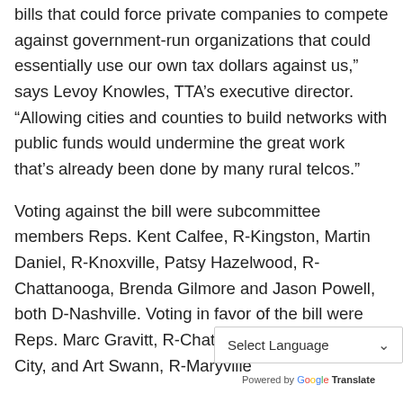bills that could force private companies to compete against government-run organizations that could essentially use our own tax dollars against us," says Levoy Knowles, TTA’s executive director. “Allowing cities and counties to build networks with public funds would undermine the great work that’s already been done by many rural telcos."
Voting against the bill were subcommittee members Reps. Kent Calfee, R-Kingston, Martin Daniel, R-Knoxville, Patsy Hazelwood, R-Chattanooga, Brenda Gilmore and Jason Powell, both D-Nashville. Voting in favor of the bill were Reps. Marc Gravitt, R-Chattanooga, R-Johnson City, and Art Swann, R-Maryville